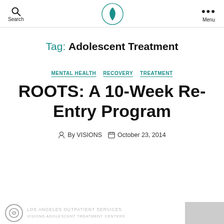Search | [Visions logo] | Menu
Tag: Adolescent Treatment
MENTAL HEALTH  RECOVERY  TREATMENT
ROOTS: A 10-Week Re-Entry Program
By VISIONS  October 23, 2014
LOS ANGELES OUTPATIENT SERVICES VISIONS ADOLESCENT TREATMENT CENTERS